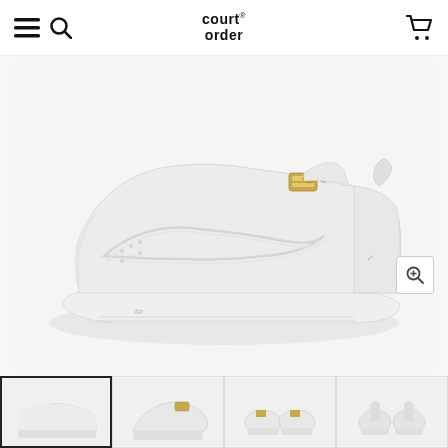court order — navigation header with menu, search, logo, and cart icons
[Figure (photo): White Nike Air Force 1 sneaker with gold zip detail, laceless design, pebbled leather upper, profile view on white background]
[Figure (photo): Thumbnail 1: White Nike AF1 profile (selected)]
[Figure (photo): Thumbnail 2: White Nike AF1 angled front view]
[Figure (photo): Thumbnail 3: Pair of white Nike AF1, front view]
[Figure (photo): Thumbnail 4: Pair of white Nike AF1, back/heel view]